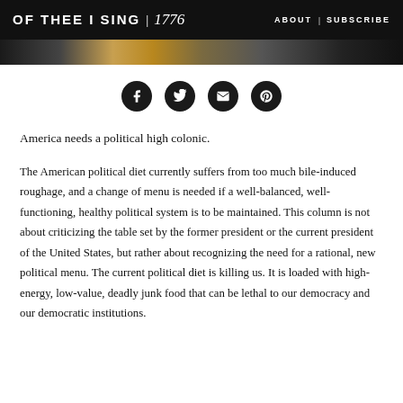OF THEE I SING | 1776   ABOUT | SUBSCRIBE
[Figure (photo): Partial image strip showing a crowd or gathering, cropped at the top of the page content area]
[Figure (infographic): Four circular social media share icons: Facebook, Twitter, Email, Pinterest — dark circle buttons in a horizontal row]
America needs a political high colonic.
The American political diet currently suffers from too much bile-induced roughage, and a change of menu is needed if a well-balanced, well-functioning, healthy political system is to be maintained. This column is not about criticizing the table set by the former president or the current president of the United States, but rather about recognizing the need for a rational, new political menu. The current political diet is killing us. It is loaded with high-energy, low-value, deadly junk food that can be lethal to our democracy and our democratic institutions.